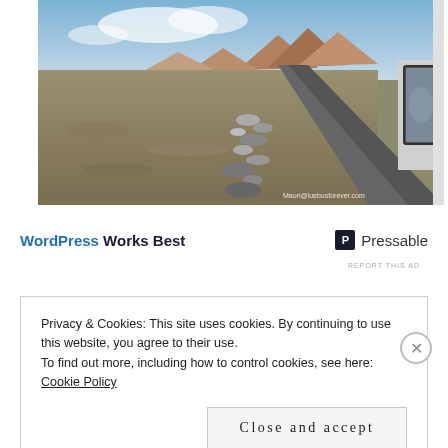[Figure (photo): Desert road landscape with barren terrain, mountains in background, asphalt road on right side, car side mirror visible. Watermark: Maori@luebosforever.com]
WordPress Works Best   P Pressable
REPORT THIS AD
Privacy & Cookies: This site uses cookies. By continuing to use this website, you agree to their use.
To find out more, including how to control cookies, see here:
Cookie Policy
Close and accept